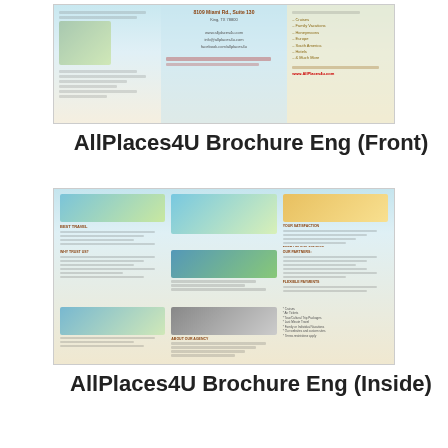[Figure (screenshot): Thumbnail image of AllPlaces4U brochure front cover showing travel photos, contact information, address, and destination bullet points]
AllPlaces4U Brochure Eng (Front)
[Figure (screenshot): Thumbnail image of AllPlaces4U brochure inside spread showing multiple panels with travel photos, text about services, travel agent info, and flexible payment options]
AllPlaces4U Brochure Eng (Inside)